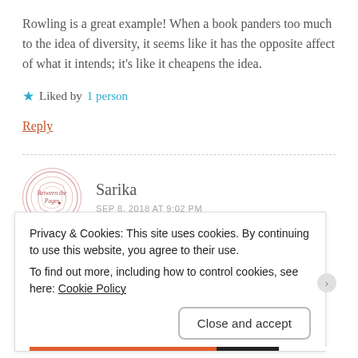Rowling is a great example! When a book panders too much to the idea of diversity, it seems like it has the opposite affect of what it intends; it's like it cheapens the idea.
★ Liked by 1 person
Reply
Sarika
SEP 8, 2018 AT 9:02 PM
Privacy & Cookies: This site uses cookies. By continuing to use this website, you agree to their use.
To find out more, including how to control cookies, see here: Cookie Policy
Close and accept